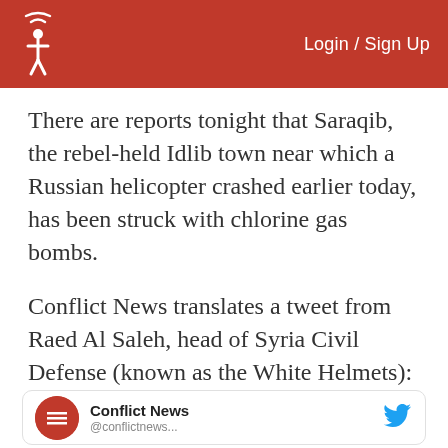Login / Sign Up
There are reports tonight that Saraqib, the rebel-held Idlib town near which a Russian helicopter crashed earlier today, has been struck with chlorine gas bombs.
Conflict News translates a tweet from Raed Al Saleh, head of Syria Civil Defense (known as the White Helmets):
[Figure (screenshot): Tweet card showing Conflict News account with red circular logo and Twitter bird icon]